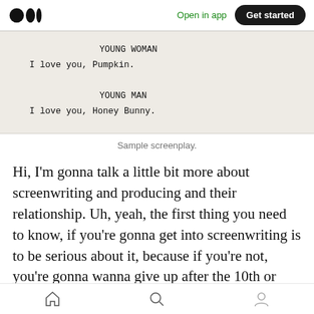Open in app | Get started
[Figure (screenshot): Screenplay excerpt showing YOUNG WOMAN: I love you, Pumpkin. YOUNG MAN: I love you, Honey Bunny.]
Sample screenplay.
Hi, I'm gonna talk a little bit more about screenwriting and producing and their relationship. Uh, yeah, the first thing you need to know, if you're gonna get into screenwriting is to be serious about it, because if you're not, you're gonna wanna give up after the 10th or 20th or
Home | Search | Profile